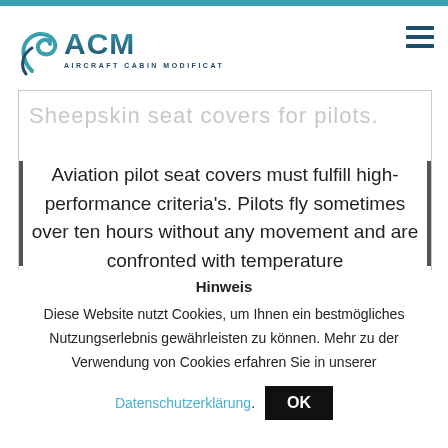[Figure (logo): ACM Aircraft Cabin Modification logo with stylized S/winglet graphic in teal and dark blue]
Sheepskin seat covers for pilots.
Aviation pilot seat covers must fulfill high-performance criteria's. Pilots fly sometimes over ten hours without any movement and are confronted with temperature
Hinweis
Diese Website nutzt Cookies, um Ihnen ein bestmögliches Nutzungserlebnis gewährleisten zu können. Mehr zu der Verwendung von Cookies erfahren Sie in unserer
Datenschutzerklärung.
OK